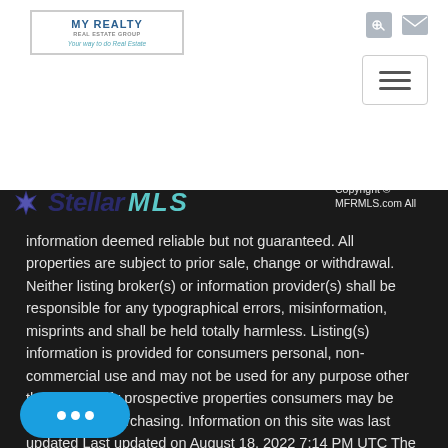[Figure (logo): My Realty Real Estate Group logo with tagline 'Your way to do Real Estate']
[Figure (logo): Stellar MLS logo with star icon, blue and teal wordmark]
Copyright © MFRMLS.com All information deemed reliable but not guaranteed. All properties are subject to prior sale, change or withdrawal. Neither listing broker(s) or information provider(s) shall be responsible for any typographical errors, misinformation, misprints and shall be held totally harmless. Listing(s) information is provided for consumers personal, non-commercial use and may not be used for any purpose other than to identify prospective properties consumers may be interested in purchasing. Information on this site was last updated Last updated on August 18, 2022 7:14 PM UTC The listing information on this page last changed on Last updated on 2022 7:14 PM UTCd. The data relating to real estate for sale on this website comes in part from the Internet Data